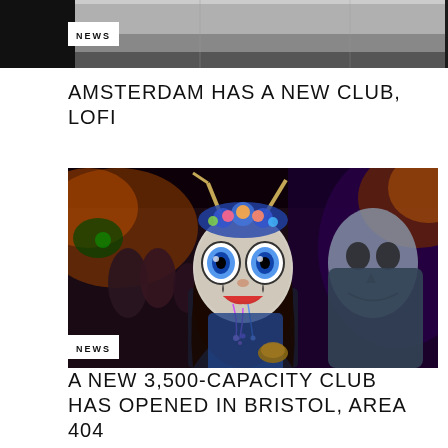[Figure (photo): Partial top strip of a photo showing an interior space, dark tones]
NEWS
AMSTERDAM HAS A NEW CLUB, LOFI
[Figure (photo): Two people in elaborate costume and face paint at a nightclub event, one wearing a large decorative mask with big blue eyes and floral headpiece, moody festival lighting]
NEWS
A NEW 3,500-CAPACITY CLUB HAS OPENED IN BRISTOL, AREA 404